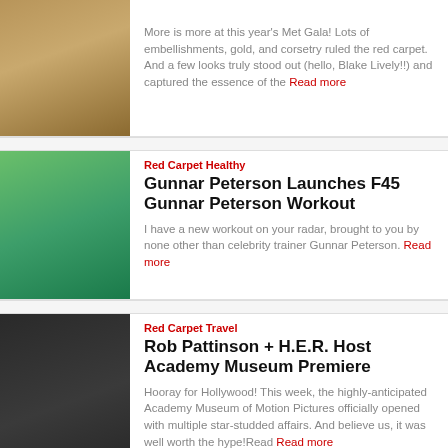[Figure (photo): Partial image of woman in gold dress at red carpet event (top of card, cropped)]
More is more at this year's Met Gala! Lots of embellishments, gold, and corsetry ruled the red carpet. And a few looks truly stood out (hello, Blake Lively!!) and captured the essence of the Read more
Red Carpet Healthy
Gunnar Peterson Launches F45 Gunnar Peterson Workout
[Figure (photo): Photo of woman in cyan/turquoise outfit with man in dark outfit outdoors, fitness/workout setting]
I have a new workout on your radar, brought to you by none other than celebrity trainer Gunnar Peterson. Read more
Red Carpet Travel
Rob Pattinson + H.E.R. Host Academy Museum Premiere
[Figure (photo): Photo of blonde woman in black outfit being interviewed on red carpet]
Hooray for Hollywood! This week, the highly-anticipated Academy Museum of Motion Pictures officially opened with multiple star-studded affairs. And believe us, it was well worth the hype!Read Read more